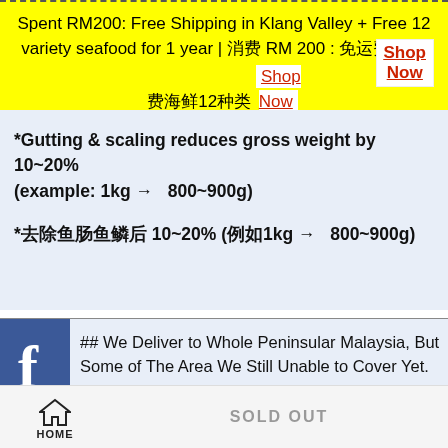Spent RM200: Free Shipping in Klang Valley + Free 12 variety seafood for 1 year | 消费 RM 200 : 免运费 + 免费海鲜12种类 Shop Now
*Gutting & scaling reduces gross weight by 10~20% (example: 1kg → 800~900g)
*去除鱼肠鱼鳞后 10~20% (例如1kg → 800~900g)
[Figure (logo): Facebook logo icon - blue square with white 'f']
## We Deliver to Whole Peninsular Malaysia, But Some of The Area We Still Unable to Cover Yet. ## For places EXCLUDE Kuala Lumpur and Selangor, please
HOME  SOLD OUT